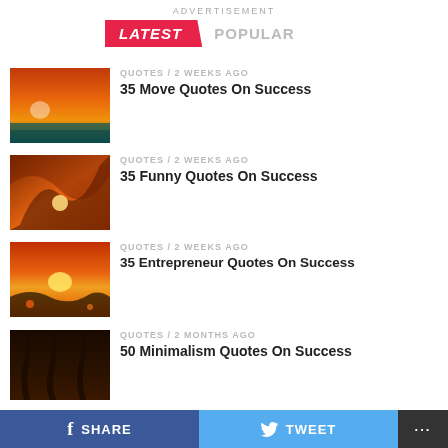ADVERTISEMENT
LATEST   POPULAR
[Figure (photo): Sunset over ocean with orange sky]
QUOTES / 2 weeks ago
35 Move Quotes On Success
[Figure (photo): Wave with sunset inside, swirling orange and brown tones]
QUOTES / 2 weeks ago
35 Funny Quotes On Success
[Figure (photo): Tropical sunset with orange sky and silhouetted hills]
QUOTES / 2 weeks ago
35 Entrepreneur Quotes On Success
[Figure (photo): Palm trees silhouette with dark tones]
QUOTES / 2 months ago
50 Minimalism Quotes On Success
SHARE   TWEET   ...